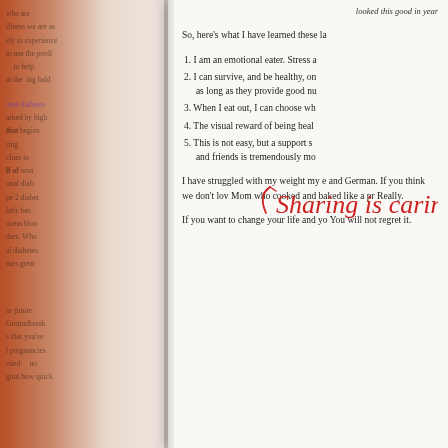looked this good in year
So, here's what I have learned these la
1. I am an emotional eater. Stress a
2. I can survive, and be healthy, on      as long as they provide good nu
3. When I eat out, I can choose wh
4. The visual reward of being heal
5. This is not easy, but a support s      and friends is tremendously mo
I have struggled with my weight my e and German. If you think we don't lov Mom who cooked and baked like a pr Really.
If you want to change your life and yo You will not regret it.
[Figure (illustration): Cursive red handwritten text reading 'Sharing is caring!' with a curved arrow]